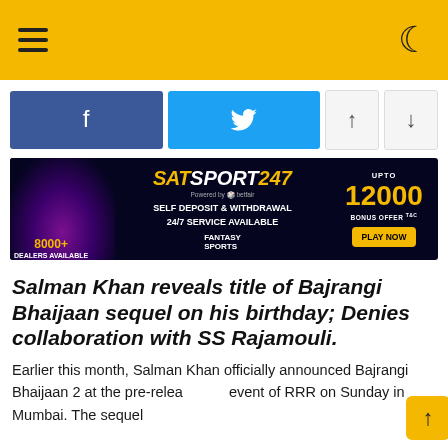☰ [hamburger menu] | ☾ [dark mode toggle]
[Figure (other): Social sharing buttons row: Facebook (blue), Twitter (cyan), up arrow and down arrow navigation buttons]
[Figure (other): SATsport247 advertisement banner: Self Deposit & Withdrawal, 24/7 Service Available, 8000+ Dealers Available, Fantasy Sports, Up to 12000 Bonus Offer, Play Now button]
Salman Khan reveals title of Bajrangi Bhaijaan sequel on his birthday; Denies collaboration with SS Rajamouli.
Earlier this month, Salman Khan officially announced Bajrangi Bhaijaan 2 at the pre-release event of RRR on Sunday in Mumbai. The sequel